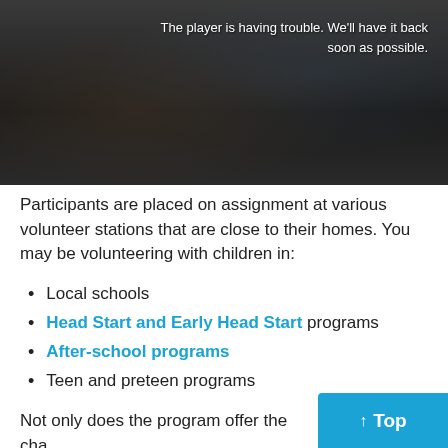[Figure (screenshot): Dark video player with error message overlay. Text reads: 'The player is having trouble. We'll have it back soon as possible.']
Participants are placed on assignment at various volunteer stations that are close to their homes. You may be volunteering with children in:
Local schools
Head Start and Early Head Start programs
After-school programs
Teen and preteen programs
Not only does the program offer the cha… difference in children's lives… you can als…